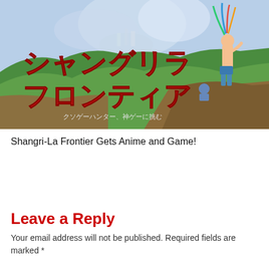[Figure (illustration): Anime key visual for Shangri-La Frontier showing a character with colorful feathered headgear standing on a rocky cliff overlooking a vast green landscape with a fantasy city in the distance. Japanese title text in large red characters reads シャングリラ フロンティア. A smaller character sits on the cliff to the right.]
Shangri-La Frontier Gets Anime and Game!
Leave a Reply
Your email address will not be published. Required fields are marked *